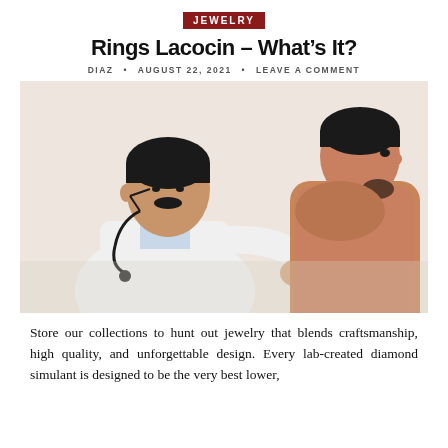JEWELRY
Rings Lacocin – What's It?
DIAZ  •  AUGUST 22, 2021  •  LEAVE A COMMENT
[Figure (photo): A doctor in a white coat using a stethoscope to examine a shirtless young male patient's back, white background.]
Store our collections to hunt out jewelry that blends craftsmanship, high quality, and unforgettable design. Every lab-created diamond simulant is designed to be the very best lower,